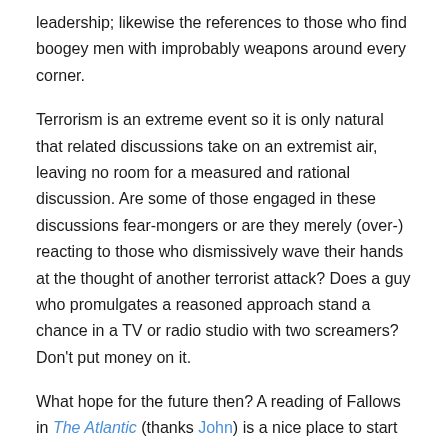leadership; likewise the references to those who find boogey men with improbably weapons around every corner.
Terrorism is an extreme event so it is only natural that related discussions take on an extremist air, leaving no room for a measured and rational discussion. Are some of those engaged in these discussions fear-mongers or are they merely (over-) reacting to those who dismissively wave their hands at the thought of another terrorist attack? Does a guy who promulgates a reasoned approach stand a chance in a TV or radio studio with two screamers? Don't put money on it.
What hope for the future then? A reading of Fallows in The Atlantic (thanks John) is a nice place to start and it meshes nicely with the idea that future big bangs are unlikely and that the “long war” is less “more WW II” than it is an extended period of mop-up operations, or perhaps more accurately what the fight against terrorism should have been pre-